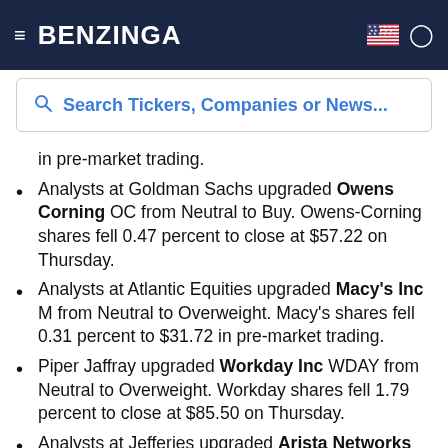BENZINGA
Search Tickers, Companies or News...
in pre-market trading.
Analysts at Goldman Sachs upgraded Owens Corning OC from Neutral to Buy. Owens-Corning shares fell 0.47 percent to close at $57.22 on Thursday.
Analysts at Atlantic Equities upgraded Macy's Inc M from Neutral to Overweight. Macy's shares fell 0.31 percent to $31.72 in pre-market trading.
Piper Jaffray upgraded Workday Inc WDAY from Neutral to Overweight. Workday shares fell 1.79 percent to close at $85.50 on Thursday.
Analysts at Jefferies upgraded Arista Networks Inc ANET from Underperform to Hold. Arista